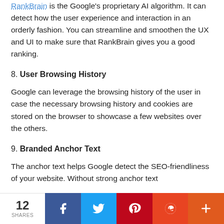is the Google's proprietary AI algorithm. It can detect how the user experience and interaction in an orderly fashion. You can streamline and smoothen the UX and UI to make sure that RankBrain gives you a good ranking.
8. User Browsing History
Google can leverage the browsing history of the user in case the necessary browsing history and cookies are stored on the browser to showcase a few websites over the others.
9. Branded Anchor Text
The anchor text helps Google detect the SEO-friendliness of your website. Without strong anchor text
12 SHARES | Facebook | Twitter | Pinterest | Reddit | More